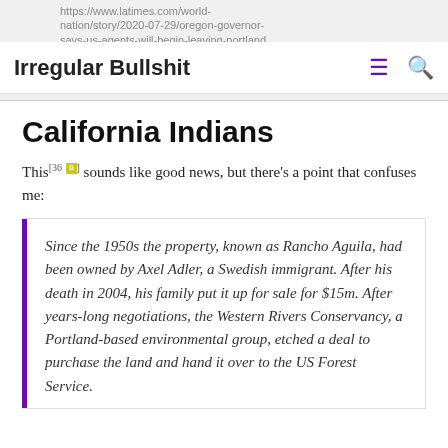Irregular Bullshit | https://www.latimes.com/world-nation/story/2020-07-29/oregon-governor-says-us-agents-will-begin-leaving-portland
California Indians
This[36] sounds like good news, but there's a point that confuses me:
Since the 1950s the property, known as Rancho Aguila, had been owned by Axel Adler, a Swedish immigrant. After his death in 2004, his family put it up for sale for $15m. After years-long negotiations, the Western Rivers Conservancy, a Portland-based environmental group, etched a deal to purchase the land and hand it over to the US Forest Service.